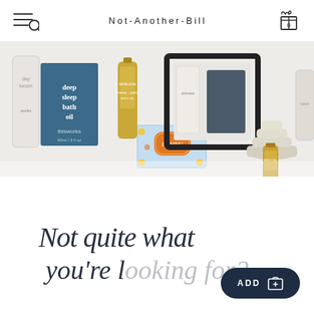Not-Another-Bill
[Figure (photo): Flat-lay photo of various beauty and bath products including This Works deep sleep bath oil, a floral-patterned Hamnu soap bar, Marlena jasmine and neroli body oil, stacked candle, and other skincare tubes on a white background.]
Not quite what you're looking for?
ADD